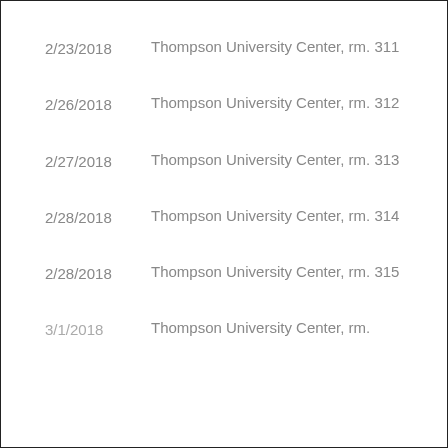2/23/2018 | Thompson University Center, rm. 311
2/26/2018 | Thompson University Center, rm. 312
2/27/2018 | Thompson University Center, rm. 313
2/28/2018 | Thompson University Center, rm. 314
2/28/2018 | Thompson University Center, rm. 315
3/1/2018 | Thompson University Center, rm.